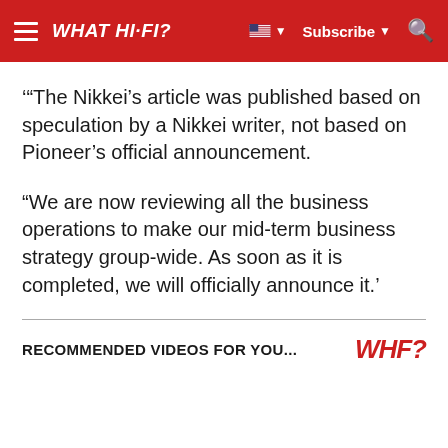WHAT HI-FI?
'"The Nikkei’s article was published based on speculation by a Nikkei writer, not based on Pioneer’s official announcement.
"We are now reviewing all the business operations to make our mid-term business strategy group-wide. As soon as it is completed, we will officially announce it.'
RECOMMENDED VIDEOS FOR YOU...